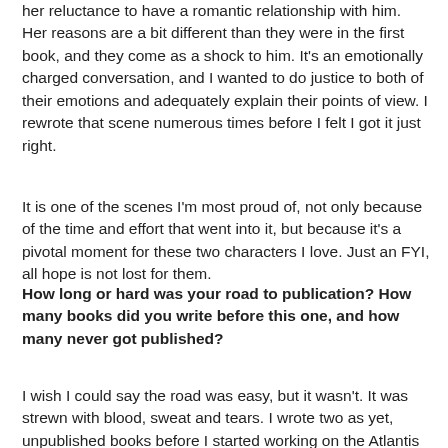her reluctance to have a romantic relationship with him. Her reasons are a bit different than they were in the first book, and they come as a shock to him. It’s an emotionally charged conversation, and I wanted to do justice to both of their emotions and adequately explain their points of view. I rewrote that scene numerous times before I felt I got it just right.
It is one of the scenes I’m most proud of, not only because of the time and effort that went into it, but because it’s a pivotal moment for these two characters I love. Just an FYI, all hope is not lost for them.
How long or hard was your road to publication? How many books did you write before this one, and how many never got published?
I wish I could say the road was easy, but it wasn’t. It was strewn with blood, sweat and tears. I wrote two as yet, unpublished books before I started working on the Atlantis